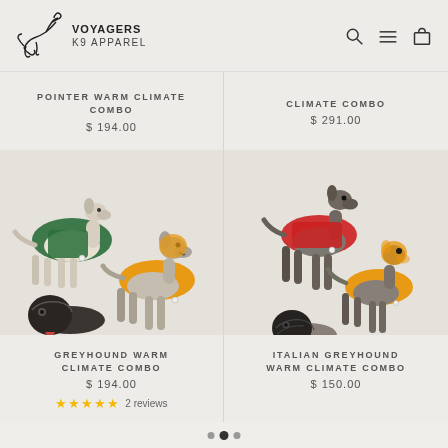Voyagers K9 Apparel
POINTER WARM CLIMATE COMBO
$ 194.00
CLIMATE COMBO
$ 291.00
[Figure (photo): Three greyhound dogs wearing dog coats: one in dark green, one in orange/yellow, one wearing a black hood]
GREYHOUND WARM CLIMATE COMBO
$ 194.00
★★★★★ 2 reviews
[Figure (photo): Three Italian greyhound dogs wearing dog coats: one in red, one in orange/yellow, one wearing a black hood]
ITALIAN GREYHOUND WARM CLIMATE COMBO
$ 150.00